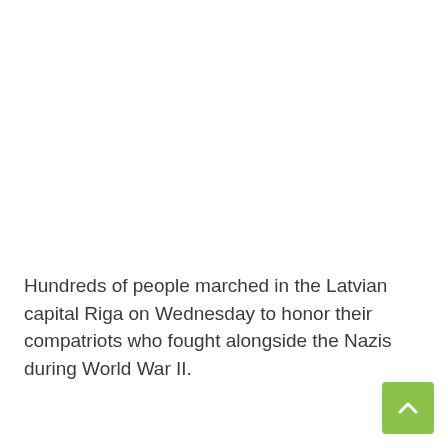Hundreds of people marched in the Latvian capital Riga on Wednesday to honor their compatriots who fought alongside the Nazis during World War II.